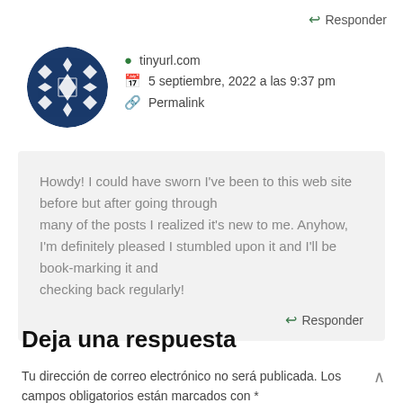↩ Responder
tinyurl.com
5 septiembre, 2022 a las 9:37 pm
Permalink
Howdy! I could have sworn I've been to this web site before but after going through many of the posts I realized it's new to me. Anyhow, I'm definitely pleased I stumbled upon it and I'll be book-marking it and checking back regularly!
↩ Responder
Deja una respuesta
Tu dirección de correo electrónico no será publicada. Los campos obligatorios están marcados con *